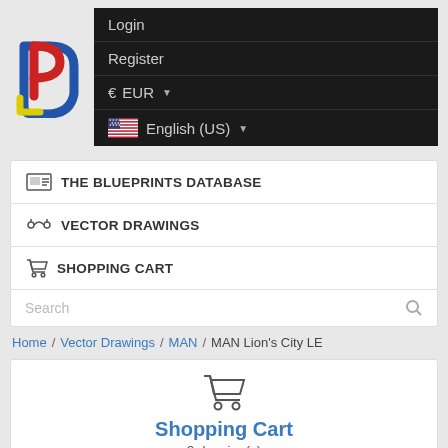[Figure (logo): Blueprints.com logo - colorful D and P letters]
Login
Register
€ EUR
English (US)
THE BLUEPRINTS DATABASE
VECTOR DRAWINGS
SHOPPING CART
Search
Home / Vector Drawings / MAN / MAN Lion's City LE
Shopping Cart
0 drawing(s)
[Figure (logo): PayPal and credit card icons]